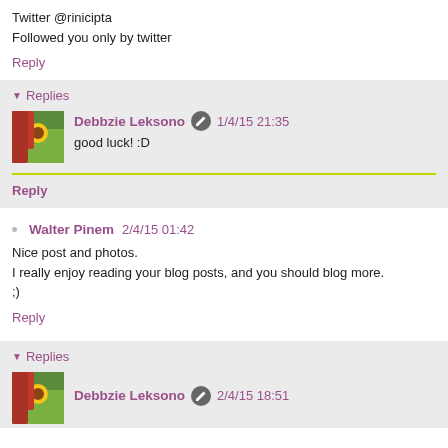Twitter @rinicipta
Followed you only by twitter
Reply
▼ Replies
Debbzie Leksono  1/4/15 21:35
good luck! :D
Reply
Walter Pinem  2/4/15 01:42
Nice post and photos.
I really enjoy reading your blog posts, and you should blog more.
;)
Reply
▼ Replies
Debbzie Leksono  2/4/15 18:51